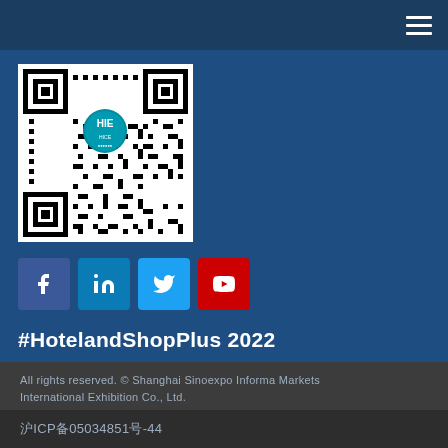[Figure (other): QR code with HE/HICE logo in center circle]
[Figure (other): Social media icons: Facebook, LinkedIn, Twitter, YouTube]
#HotelandShopPlus2022
All rights reserved. © Shanghai Sinoexpo Informa Markets International Exhibition Co., Ltd.
沪ICP备05034851号-44